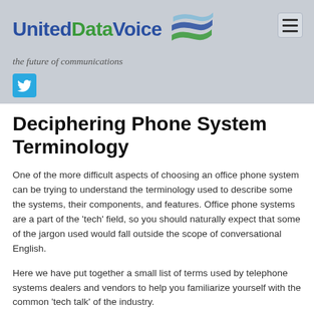UnitedDataVoice — the future of communications
[Figure (logo): UnitedDataVoice logo with blue and green ribbon graphic, hamburger menu icon, Twitter bird icon, and tagline 'the future of communications']
Deciphering Phone System Terminology
One of the more difficult aspects of choosing an office phone system can be trying to understand the terminology used to describe some the systems, their components, and features. Office phone systems are a part of the 'tech' field, so you should naturally expect that some of the jargon used would fall outside the scope of conversational English.
Here we have put together a small list of terms used by telephone systems dealers and vendors to help you familiarize yourself with the common 'tech talk' of the industry.